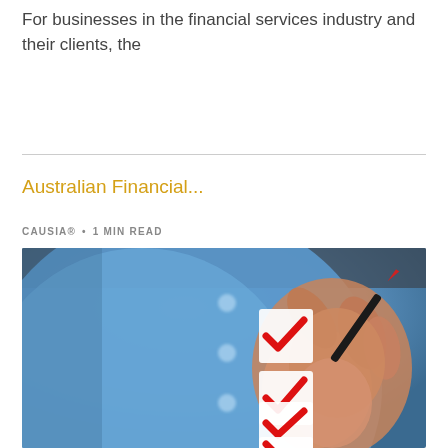For businesses in the financial services industry and their clients, the
Australian Financial...
CAUSIA® • 1 MIN READ
[Figure (photo): Person in blue shirt holding a pen and checking red checkmarks in white checkbox squares, close-up photo with blurred background]